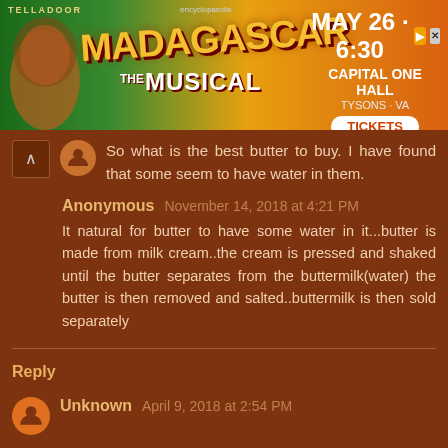[Figure (infographic): Advertisement banner for Madagascar The Musical at Capital One Hall, Tysons VA, May 26 at 6:30 PM, with Tickets button]
So what is the best butter to buy. I have found that some seem to have water in them.
Anonymous  November 14, 2018 at 4:21 PM
It natural for butter to have some water in it...butter is made from milk cream..the cream is pressed and shaked until the butter separates from the buttermilk(water) the butter is then removed and salted..buttermilk is then sold separately
Reply
Unknown  April 9, 2018 at 2:54 PM